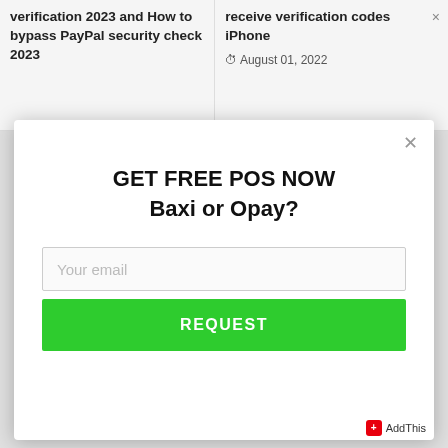verification 2023 and How to bypass PayPal security check 2023
receive verification codes iPhone
August 01, 2022
GET FREE POS NOW
Baxi or Opay?
Your email
REQUEST
AddThis